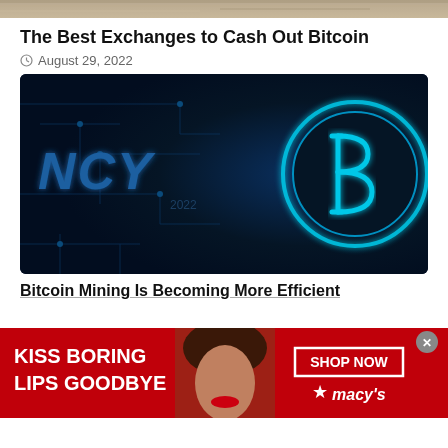[Figure (photo): Top strip of a partially visible image, brownish/tan colored]
The Best Exchanges to Cash Out Bitcoin
August 29, 2022
[Figure (photo): Dark blue circuit board background with glowing cyan Bitcoin coin symbol on the right and the letters NCY on the left in blue, digital cryptocurrency themed image]
Bitcoin Mining Is Becoming More Efficient
[Figure (photo): Advertisement banner: red background with a woman's face showing red lips. Text reads KISS BORING LIPS GOODBYE with SHOP NOW button and Macy's star logo]